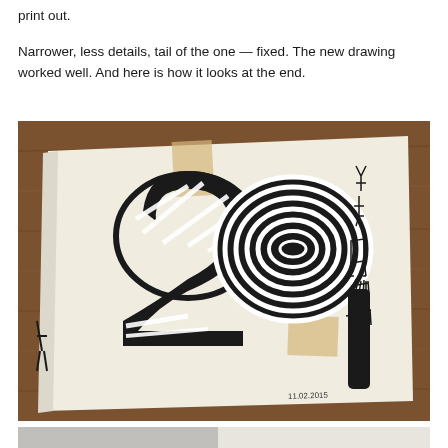print out.
Narrower, less details, tail of the one — fixed. The new drawing worked well. And here is how it looks at the end.
[Figure (photo): A sketchbook open on a wooden table, showing a bold black-and-white striped typographic drawing of the number '29' with strong optical illusion stripes. Small ink sketches of figures appear in the upper right. A date '11.02.2015' is visible in the lower right of the drawing. The book is held open with masking tape.]
[Figure (photo): Partially visible photo at the bottom of the page, appears to show a light-colored surface, cropped.]